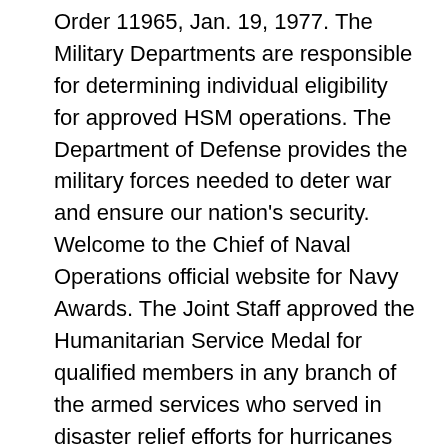Order 11965, Jan. 19, 1977. The Military Departments are responsible for determining individual eligibility for approved HSM operations. The Department of Defense provides the military forces needed to deter war and ensure our nation's security. Welcome to the Chief of Naval Operations official website for Navy Awards. The Joint Staff approved the Humanitarian Service Medal for qualified members in any branch of the armed services who served in disaster relief efforts for hurricanes Harvey, Irma or Maria., The U.S. military's response was substantial, including multiple Air Force Pararescue teams. … Table 70 of the codes manual will be updated with the approved operations under the NATO medal... Per references (b) and (c), the HSM is an individual service medal awarded to members who, after 1 April 1975 distinguished themselves as individuals or members of U.S. military unit by meritorious, direct non-routine participation in a significant military act or operation of a humanitarian … RANDOLPH AIR FORCE